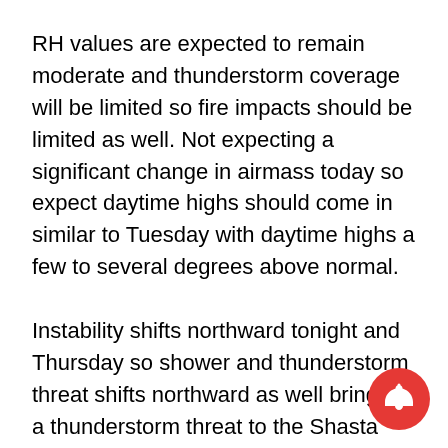RH values are expected to remain moderate and thunderstorm coverage will be limited so fire impacts should be limited as well. Not expecting a significant change in airmass today so expect daytime highs should come in similar to Tuesday with daytime highs a few to several degrees above normal.
Instability shifts northward tonight and Thursday so shower and thunderstorm threat shifts northward as well bringing a thunderstorm threat to the Shasta county mountains. This threat will continue through the day Thursday as the offshore upper low shifts to the northeast towards the Pacific Northwest. Thursday will likely see a little